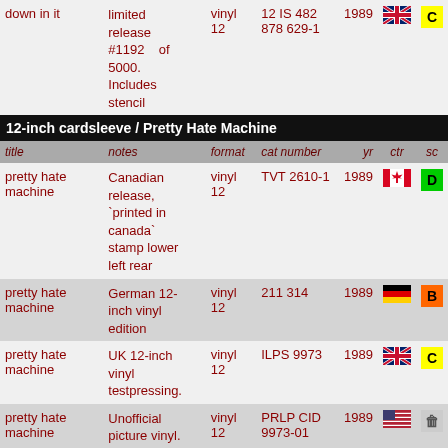| title | notes | format | cat number | yr | ctr | sc |
| --- | --- | --- | --- | --- | --- | --- |
| down in it | limited release #1192 of 5000. Includes stencil | vinyl 12 | IS 482 878 629-1 | 1989 | UK | C |
|  | 12-inch cardsleeve / Pretty Hate Machine |  |  |  |  |  |
| pretty hate machine | Canadian release, `printed in canada` stamp lower left rear | vinyl 12 | TVT 2610-1 | 1989 | CA | D |
| pretty hate machine | German 12-inch vinyl edition | vinyl 12 | 211 314 | 1989 | DE | B |
| pretty hate machine | UK 12-inch vinyl testpressing. | vinyl 12 | ILPS 9973 | 1989 | UK | C |
| pretty hate machine | Unofficial picture vinyl. | vinyl 12 | PRLP CID 9973-01 | 1989 | US | trash |
| pretty hate machine | UK release, lyrics on inner sleeve | vinyl 12 | ILPS 9973 848 358-1 | 1989 | UK | C |